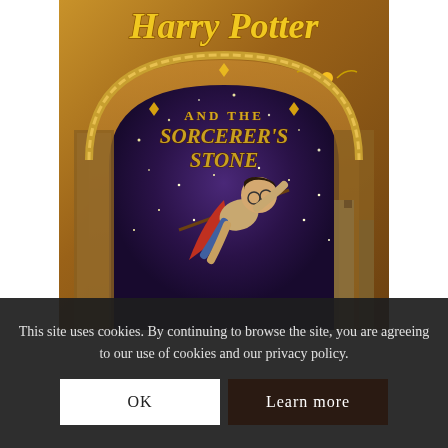[Figure (illustration): Book cover of Harry Potter and the Sorcerer's Stone. Shows Harry Potter flying on a broomstick reaching for the golden snitch, against a purple starry sky. The title 'Harry Potter' is in large yellow stylized letters at the top, with 'and the Sorcerer's Stone' in an arc below. Castle towers visible in the background.]
This site uses cookies. By continuing to browse the site, you are agreeing to our use of cookies and our privacy policy.
OK
Learn more